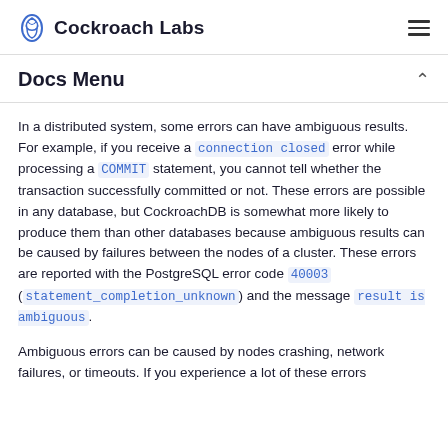Cockroach Labs
Docs Menu
In a distributed system, some errors can have ambiguous results. For example, if you receive a connection closed error while processing a COMMIT statement, you cannot tell whether the transaction successfully committed or not. These errors are possible in any database, but CockroachDB is somewhat more likely to produce them than other databases because ambiguous results can be caused by failures between the nodes of a cluster. These errors are reported with the PostgreSQL error code 40003 (statement_completion_unknown) and the message result is ambiguous.
Ambiguous errors can be caused by nodes crashing, network failures, or timeouts. If you experience a lot of these errors